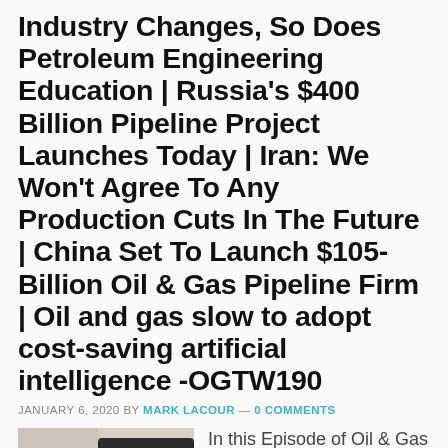Industry Changes, So Does Petroleum Engineering Education | Russia's $400 Billion Pipeline Project Launches Today | Iran: We Won't Agree To Any Production Cuts In The Future | China Set To Launch $105-Billion Oil & Gas Pipeline Firm | Oil and gas slow to adopt cost-saving artificial intelligence -OGTW190
JANUARY 6, 2020 BY MARK LACOUR — 0 COMMENTS
[Figure (photo): Photo of a person in a suit, with an orange icon in the background, partially visible]
In this Episode of Oil & Gas This Week: Even Shale Veterans Don't